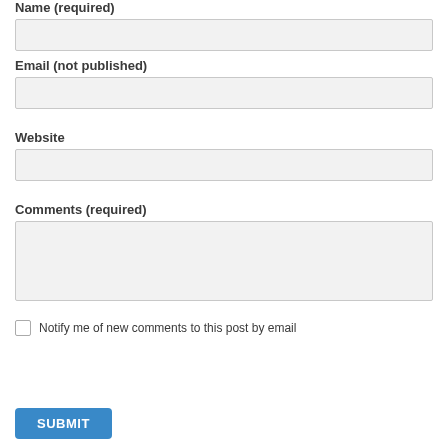Name (required)
Email (not published)
Website
Comments (required)
Notify me of new comments to this post by email
SUBMIT